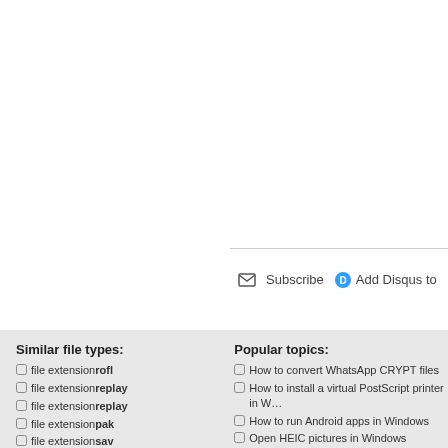[Figure (screenshot): Disqus comment widget with social login icons (Disqus, Facebook, Twitter, Google) and Subscribe/Add Disqus to your site buttons]
Similar file types:
file extension rofl
file extension replay
file extension replay
file extension pak
file extension sav
file extension sc2replay
Popular topics:
How to convert WhatsApp CRYPT files
How to install a virtual PostScript printer in …
How to run Android apps in Windows
Open HEIC pictures in Windows
How to work with OXPS documents without Windows 8
Best programs for finding duplicate files